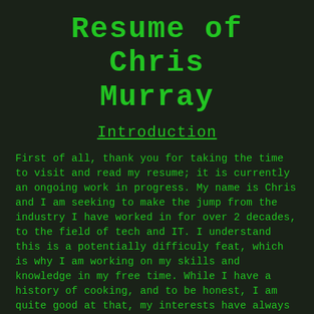Resume of Chris Murray
Introduction
First of all, thank you for taking the time to visit and read my resume; it is currently an ongoing work in progress. My name is Chris and I am seeking to make the jump from the industry I have worked in for over 2 decades, to the field of tech and IT. I understand this is a potentially difficuly feat, which is why I am working on my skills and knowledge in my free time. While I have a history of cooking, and to be honest, I am quite good at that, my interests have always lied in the digital realm. I have enjoyed using computers since childhood, when one exciting day in 1986 my parents surprised us with a Commodore 64. As a child I enjoyed learning Commodore BASIC, as well as playing many many games. Learning to use a holepunch to turn a cheap single-sided floppy into a double-sided disc, and to fill it with cracked software using Quick-Copy introduced me to just